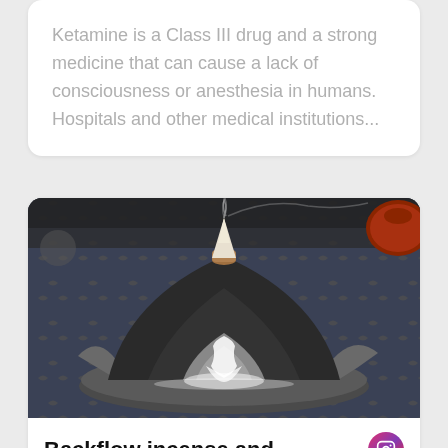Ketamine is a Class III drug and a strong medicine that can cause a lack of consciousness or anesthesia in humans. Hospitals and other medical institutions...
[Figure (photo): A ceramic backflow incense burner shaped like a mountain landscape on a round plate, with smoke flowing downward like a waterfall, placed on a dark blue ornamental surface. A reddish-brown clay teapot is partially visible in the upper right corner.]
Backflow incense and